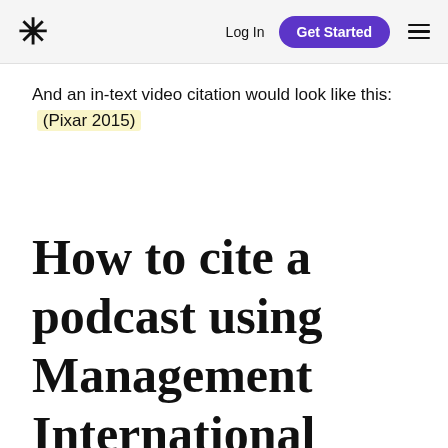* Log In  Get Started  ☰
And an in-text video citation would look like this:  (Pixar 2015)
How to cite a podcast using Management International Review referencing style